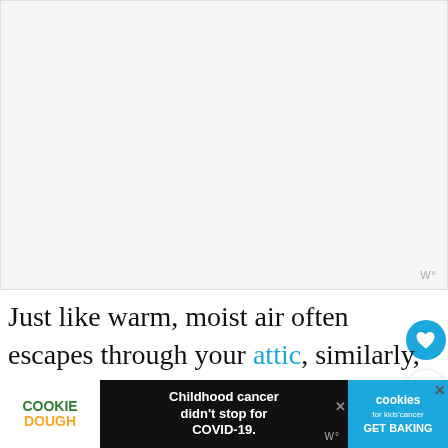[Figure (other): Large blank/white image placeholder area with a small watermark icon 'W°' in the bottom-right corner]
Just like warm, moist air often escapes through your attic, similarly, warm air or smoke rises up and goes out through your chimney. This is referred to as the "stack ef... ney is
[Figure (other): Advertisement banner at the bottom: Cookie Dough ad with 'Childhood cancer didn't stop for COVID-19.' text, cookies for kids cancer logo, and GET BAKING call to action]